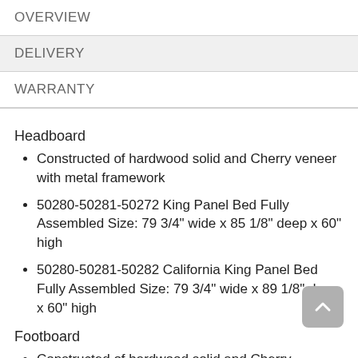OVERVIEW
DELIVERY
WARRANTY
Headboard
Constructed of hardwood solid and Cherry veneer with metal framework
50280-50281-50272 King Panel Bed Fully Assembled Size: 79 3/4" wide x 85 1/8" deep x 60" high
50280-50281-50282 California King Panel Bed Fully Assembled Size: 79 3/4" wide x 89 1/8" deep x 60" high
Footboard
Constructed of hardwood solid and Cherry